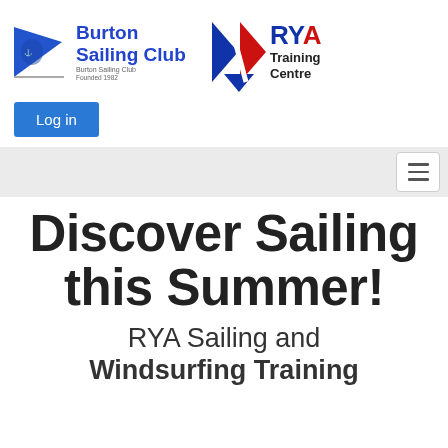[Figure (logo): Burton Sailing Club logo with blue pennant flag and text 'Burton Sailing Club Founded 1982', alongside RYA Training Centre logo with red/blue/white chevron design]
[Figure (screenshot): Blue 'Log in' button]
[Figure (screenshot): Navigation bar with hamburger menu icon on right side]
Discover Sailing this Summer!
RYA Sailing and Windsurfing Training